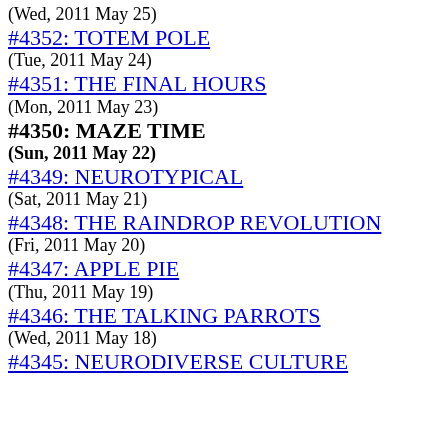(Wed, 2011 May 25)
#4352: TOTEM POLE
(Tue, 2011 May 24)
#4351: THE FINAL HOURS
(Mon, 2011 May 23)
#4350: MAZE TIME
(Sun, 2011 May 22)
#4349: NEUROTYPICAL
(Sat, 2011 May 21)
#4348: THE RAINDROP REVOLUTION
(Fri, 2011 May 20)
#4347: APPLE PIE
(Thu, 2011 May 19)
#4346: THE TALKING PARROTS
(Wed, 2011 May 18)
#4345: NEURODIVERSE CULTURE